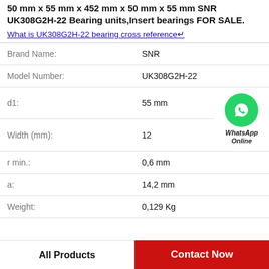50 mm x 55 mm x 452 mm x 50 mm x 55 mm SNR UK308G2H-22 Bearing units,Insert bearings FOR SALE.
What is UK308G2H-22 bearing cross reference↵
| Field | Value |
| --- | --- |
| Brand Name: | SNR |
| Model Number: | UK308G2H-22 |
| d1: | 55 mm |
| Width (mm): | 12 |
| r min.: | 0,6 mm |
| a: | 14,2 mm |
| Weight: | 0,129 Kg |
All Products
Contact Now